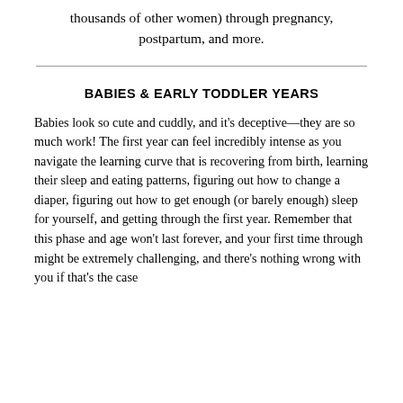thousands of other women) through pregnancy, postpartum, and more.
BABIES & EARLY TODDLER YEARS
Babies look so cute and cuddly, and it's deceptive—they are so much work! The first year can feel incredibly intense as you navigate the learning curve that is recovering from birth, learning their sleep and eating patterns, figuring out how to change a diaper, figuring out how to get enough (or barely enough) sleep for yourself, and getting through the first year. Remember that this phase and age won't last forever, and your first time through might be extremely challenging, and there's nothing wrong with you if that's the case